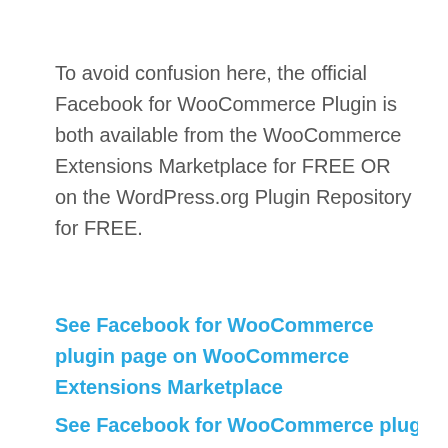To avoid confusion here, the official Facebook for WooCommerce Plugin is both available from the WooCommerce Extensions Marketplace for FREE OR on the WordPress.org Plugin Repository for FREE.
See Facebook for WooCommerce plugin page on WooCommerce Extensions Marketplace
See Facebook for WooCommerce plugin